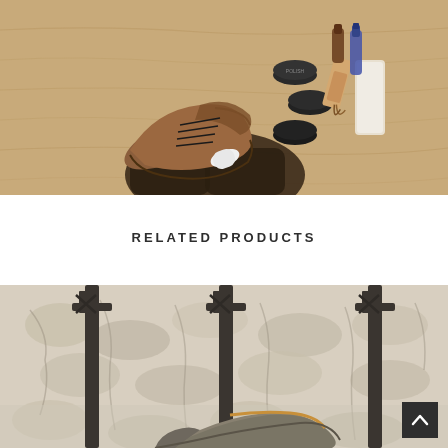[Figure (photo): Overhead view of a person polishing brown leather Oxford shoes on a wooden floor, surrounded by shoe care products including polish tins, brushes, and a white applicator]
RELATED PRODUCTS
[Figure (photo): Close-up of a grey suede shoe/loafer with a cobblestone background and decorative dark iron fence posts in the foreground, partially visible shoe toe area]